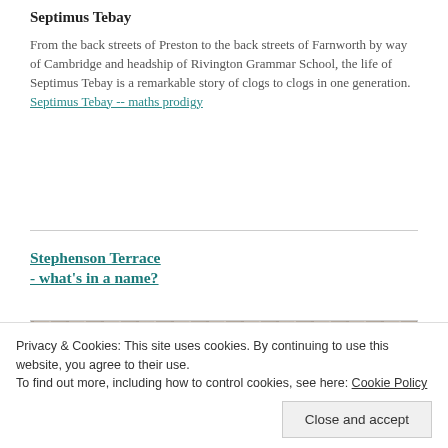Septimus Tebay
From the back streets of Preston to the back streets of Farnworth by way of Cambridge and headship of Rivington Grammar School, the life of Septimus Tebay is a remarkable story of clogs to clogs in one generation.
Septimus Tebay -- maths prodigy
Stephenson Terrace
- what's in a name?
[Figure (photo): Partial view of a historical photograph, cropped at bottom of page]
Privacy & Cookies: This site uses cookies. By continuing to use this website, you agree to their use.
To find out more, including how to control cookies, see here: Cookie Policy